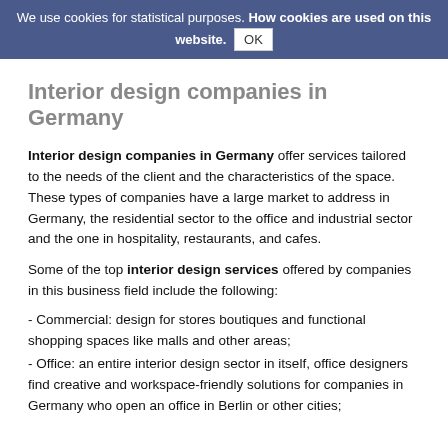We use cookies for statistical purposes. How cookies are used on this website. OK
Interior design companies in Germany
Interior design companies in Germany offer services tailored to the needs of the client and the characteristics of the space. These types of companies have a large market to address in Germany, the residential sector to the office and industrial sector and the one in hospitality, restaurants, and cafes.
Some of the top interior design services offered by companies in this business field include the following:
- Commercial: design for stores boutiques and functional shopping spaces like malls and other areas;
- Office: an entire interior design sector in itself, office designers find creative and workspace-friendly solutions for companies in Germany who open an office in Berlin or other cities;